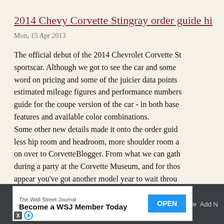2014 Chevy Corvette Stingray order guide hi
Mon, 15 Apr 2013
The official debut of the 2014 Chevrolet Corvette St sportscar. Although we got to see the car and some word on pricing and some of the juicier data points estimated mileage figures and performance numbers guide for the coupe version of the car - in both base features and available color combinations. Some other new details made it onto the order guid less hip room and headroom, more shoulder room a on over to CorvetteBlogger. From what we can gath during a party at the Corvette Museum, and for thos appear you've got another model year to wait throu
[Figure (screenshot): Wall Street Journal advertisement banner: 'Become a WSJ Member Today' with OPEN button]